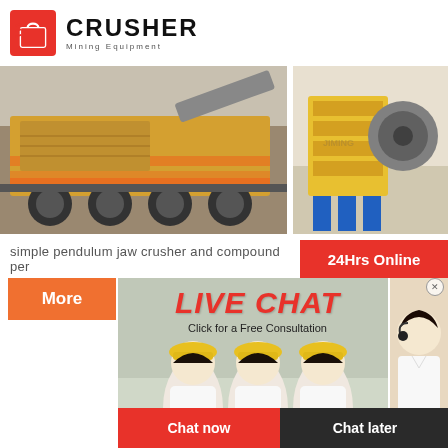[Figure (logo): Crusher Mining Equipment logo with red shopping bag icon and bold CRUSHER text]
[Figure (photo): Mining crusher equipment on transport vehicle, outdoor industrial site]
[Figure (photo): Yellow/orange impact crusher machinery in factory setting with JIMING watermark]
simple pendulum jaw crusher and compound pen
[Figure (infographic): Live Chat overlay with engineers in hard hats, customer service representative, LIVE CHAT heading, Click for a Free Consultation, Chat now and Chat later buttons, 24Hrs Online badge]
[Figure (photo): Yellow jaw crusher machinery in factory with JIMING watermark]
[Figure (photo): Construction/mining site aerial view]
Need questions & suggestion?
Chat Now
Enquiry
mumumugoods@gmail.com